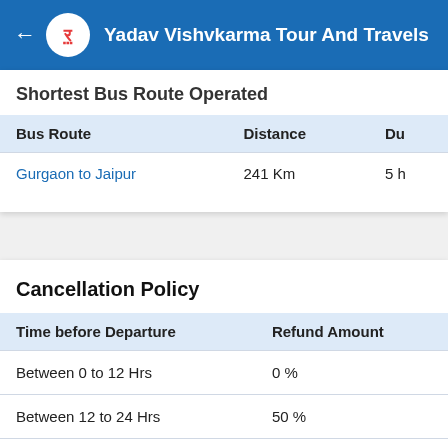Yadav Vishvkarma Tour And Travels
Shortest Bus Route Operated
| Bus Route | Distance | Du |
| --- | --- | --- |
| Gurgaon to Jaipur | 241 Km | 5 h |
Cancellation Policy
| Time before Departure | Refund Amount |
| --- | --- |
| Between 0 to 12 Hrs | 0 % |
| Between 12 to 24 Hrs | 50 % |
| Above 24 Hrs | 90 % |